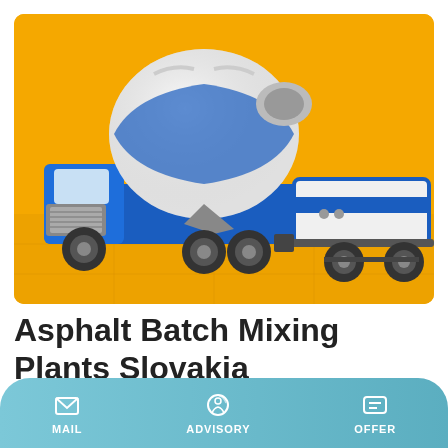[Figure (photo): 3D rendered image of a blue and white concrete mixer truck with a separate trailer unit on an orange/yellow background]
Asphalt Batch Mixing Plants Slovakia
Asphalt batch mix plants are the most widely used type of asphalt plants. Batch mix means there is a time interval
MAIL   ADVISORY   OFFER